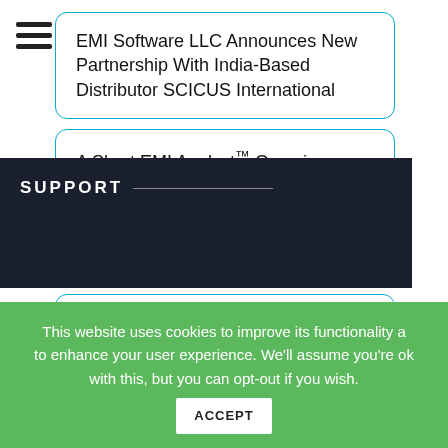[Figure (other): Hamburger menu icon (three horizontal lines)]
EMI Software LLC Announces New Partnership With India-Based Distributor SCICUS International
A Short EMI Analyst™ Overview
How Cabling Affects EMI In Unexpected Ways
Cabling Affects Electromagnetic Interference In Complex Ways
SUPPORT
This website uses cookies to improve its functionality and to enhance your user experience. We'll assume you're ok with this, but you can opt-out if you wish.
ACCEPT